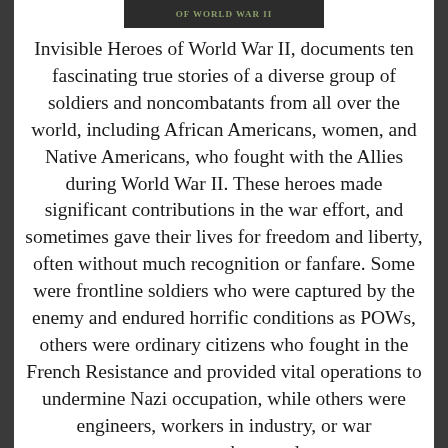[Figure (other): Partial book cover banner reading 'OF WORLD WAR II' in olive/green text on dark background]
Invisible Heroes of World War II, documents ten fascinating true stories of a diverse group of soldiers and noncombatants from all over the world, including African Americans, women, and Native Americans, who fought with the Allies during World War II. These heroes made significant contributions in the war effort, and sometimes gave their lives for freedom and liberty, often without much recognition or fanfare. Some were frontline soldiers who were captured by the enemy and endured horrific conditions as POWs, others were ordinary citizens who fought in the French Resistance and provided vital operations to undermine Nazi occupation, while others were engineers, workers in industry, or war correspondents and